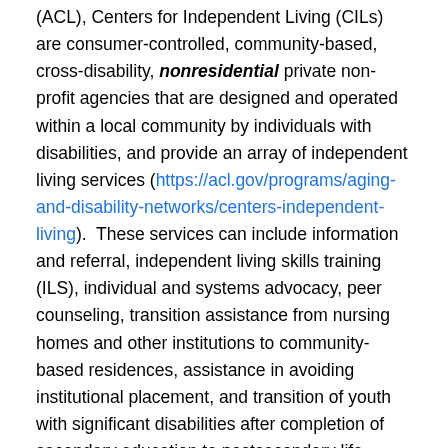(ACL), Centers for Independent Living (CILs) are consumer-controlled, community-based, cross-disability, nonresidential private non-profit agencies that are designed and operated within a local community by individuals with disabilities, and provide an array of independent living services (https://acl.gov/programs/aging-and-disability-networks/centers-independent-living). These services can include information and referral, independent living skills training (ILS), individual and systems advocacy, peer counseling, transition assistance from nursing homes and other institutions to community-based residences, assistance in avoiding institutional placement, and transition of youth with significant disabilities after completion of secondary education to postsecondary life (https://www.ilru.org/projects/cil-net/cil-center-and-association-directory). CIL staff members identify